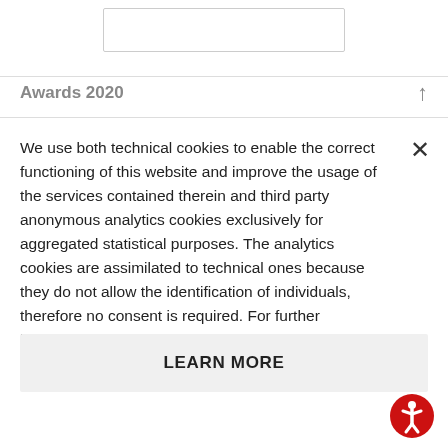[Figure (screenshot): Top navigation input box area, partially visible at the top of the page]
Awards 2020
We use both technical cookies to enable the correct functioning of this website and improve the usage of the services contained therein and third party anonymous analytics cookies exclusively for aggregated statistical purposes. The analytics cookies are assimilated to technical ones because they do not allow the identification of individuals, therefore no consent is required. For further information, please consult our Cookies Policy.
LEARN MORE